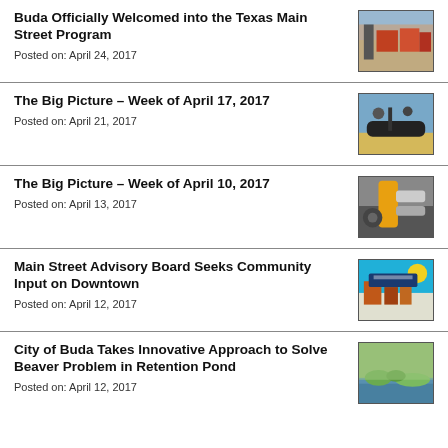Buda Officially Welcomed into the Texas Main Street Program
Posted on: April 24, 2017
[Figure (photo): Street scene with sign in Buda, TX]
The Big Picture – Week of April 17, 2017
Posted on: April 21, 2017
[Figure (photo): Workers with large pipe or equipment outdoors]
The Big Picture – Week of April 10, 2017
Posted on: April 13, 2017
[Figure (photo): Yellow construction machinery close-up]
Main Street Advisory Board Seeks Community Input on Downtown
Posted on: April 12, 2017
[Figure (photo): Downtown Positown illustrated sign with buildings]
City of Buda Takes Innovative Approach to Solve Beaver Problem in Retention Pond
Posted on: April 12, 2017
[Figure (photo): Retention pond with vegetation and water]